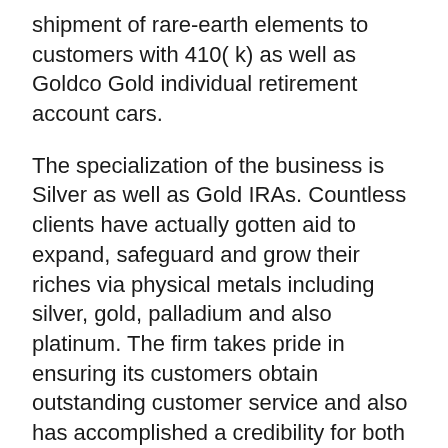shipment of rare-earth elements to customers with 410( k) as well as Goldco Gold individual retirement account cars.
The specialization of the business is Silver as well as Gold IRAs. Countless clients have actually gotten aid to expand, safeguard and grow their riches via physical metals including silver, gold, palladium and also platinum. The firm takes pride in ensuring its customers obtain outstanding customer service and also has accomplished a credibility for both phenomenal academic sources and also incredibly high-grade solution. Financiers interesting in hands-off diversity are superb prospects for a Silver or Gold IRA.